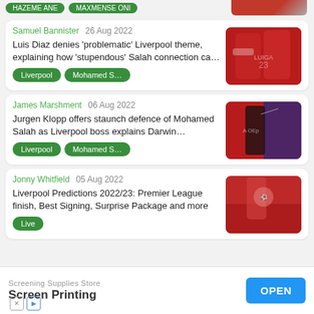[Figure (photo): Partial top strip showing green tag buttons and a sports photo on the right]
Samuel Bannister  26 Aug 2022
Luis Diaz denies 'problematic' Liverpool theme, explaining how 'stupendous' Salah connection ca…
Liverpool
Mohamed S…
[Figure (photo): Two Liverpool players in red jerseys]
James Marshment  06 Aug 2022
Jurgen Klopp offers staunch defence of Mohamed Salah as Liverpool boss explains Darwin…
Liverpool
Mohamed S…
[Figure (photo): Person in black tracksuit waving hand in front of a red bus]
Jonny Whitfield  05 Aug 2022
Liverpool Predictions 2022/23: Premier League finish, Best Signing, Surprise Package and more
Live…
[Figure (photo): Liverpool player in red jersey in crowd]
Screening Supplies Store
Screen Printing
OPEN